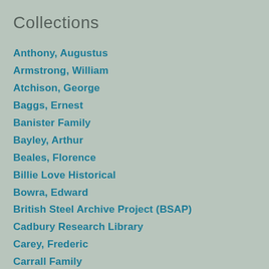Collections
Anthony, Augustus
Armstrong, William
Atchison, George
Baggs, Ernest
Banister Family
Bayley, Arthur
Beales, Florence
Billie Love Historical
Bowra, Edward
British Steel Archive Project (BSAP)
Cadbury Research Library
Carey, Frederic
Carrall Family
Carstairs, Jamie